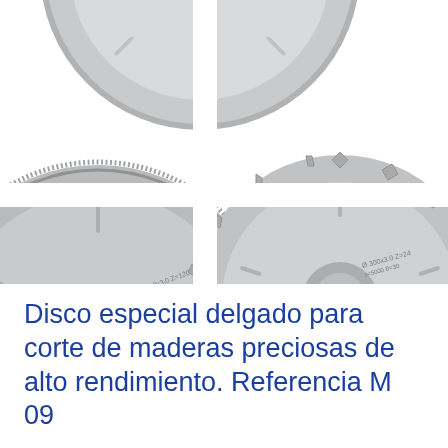[Figure (photo): Three circular saw blades arranged in a cross/grid composition. Top-center: a fine-tooth blade (many small teeth, ~80-100 teeth) in gray. Bottom-left: a large fine-tooth blade with many small teeth. Bottom-right: a coarser-tooth blade with fewer, larger teeth. The blades are metallic gray and photographed on a white background with white cross dividers between them.]
Disco especial delgado para corte de maderas preciosas de alto rendimiento. Referencia M 09